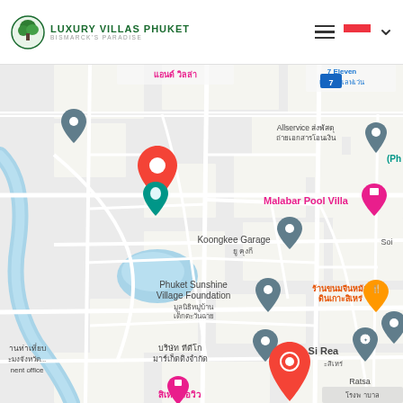[Figure (logo): Luxury Villas Phuket logo with green tree icon and subtitle Bismarck's Paradise]
[Figure (map): Google Maps screenshot showing area around Phuket Sunshine Village Foundation with landmarks: Malabar Pool Villa, Koongkee Garage, Wat Si Rea, District Comn, Thai text labels for various businesses and streets. Two red pin markers visible on map, one teal marker. Blue river/waterway running through map. Pink and gray map pins for hotels and services.]